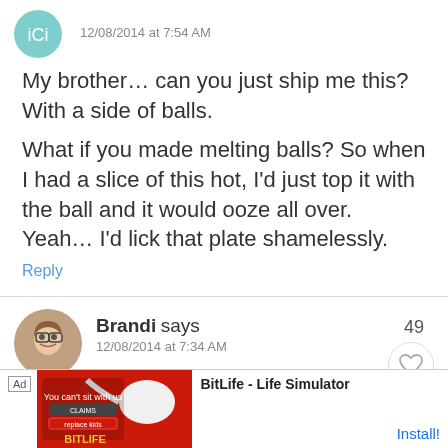12/08/2014 at 7:54 AM
My brother… can you just ship me this? With a side of balls.
What if you made melting balls? So when I had a slice of this hot, I'd just top it with the ball and it would ooze all over. Yeah… I'd lick that plate shamelessly.
Reply
Brandi says
12/08/2014 at 7:34 AM
Bread is probably one of my favorite things to bake! I use m...zing. Thi...